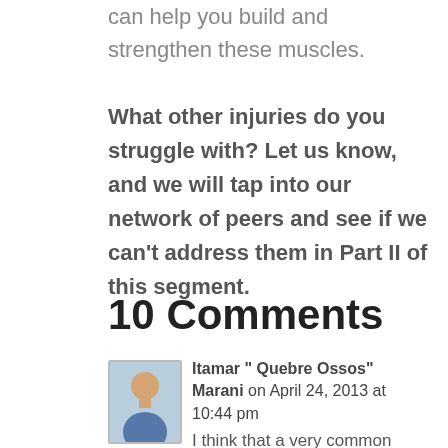can help you build and strengthen these muscles.
What other injuries do you struggle with? Let us know, and we will tap into our network of peers and see if we can't address them in Part II of this segment.
10 Comments
Itamar " Quebre Ossos" Marani on April 24, 2013 at 10:44 pm
I think that a very common problem